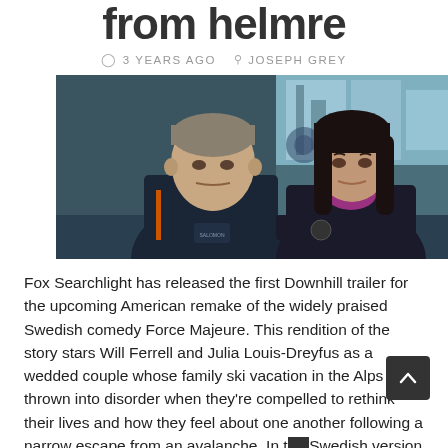from helmre
3 YEARS AGO   JOSEPH GREY
[Figure (photo): Two actors — a man in a dark ski jacket with orange accents and a woman in a dark zip-up jacket — stand in front of a ski resort interior. Still from the movie Downhill.]
Fox Searchlight has released the first Downhill trailer for the upcoming American remake of the widely praised Swedish comedy Force Majeure. This rendition of the story stars Will Ferrell and Julia Louis-Dreyfus as a wedded couple whose family ski vacation in the Alps is thrown into disorder when they're compelled to rethink their lives and how they feel about one another following a narrow escape from an avalanche. In the Swedish version of the story, the husband abandons his wife and family to spare himself, just to discover the avalanche didn't hurt